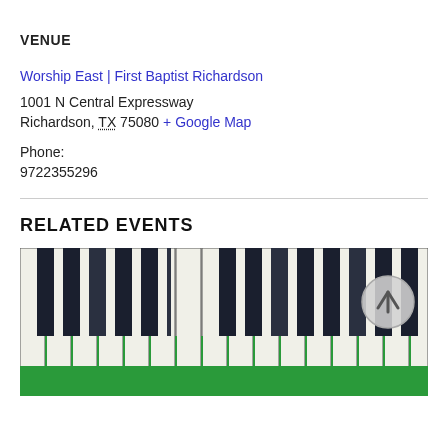VENUE
Worship East | First Baptist Richardson
1001 N Central Expressway
Richardson, TX 75080 + Google Map
Phone:
9722355296
RELATED EVENTS
[Figure (illustration): Piano keyboard image showing black and white keys with a green base, used as a banner for a related music event. A circular scroll-to-top button with an upward arrow is visible in the upper right.]